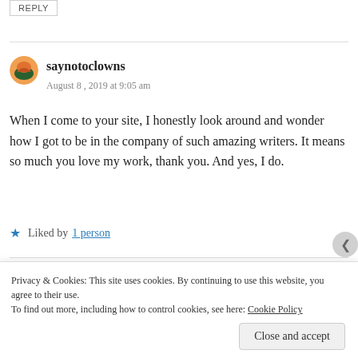REPLY
saynotoclowns
August 8, 2019 at 9:05 am
When I come to your site, I honestly look around and wonder how I got to be in the company of such amazing writers. It means so much you love my work, thank you. And yes, I do.
Liked by 1 person
Privacy & Cookies: This site uses cookies. By continuing to use this website, you agree to their use.
To find out more, including how to control cookies, see here: Cookie Policy
Close and accept